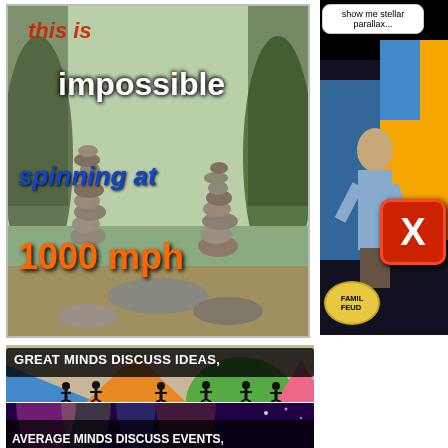[Figure (photo): Balancing stone sculptures in an outdoor setting with text overlay: 'this is impossible spinning at 1000 mph']
[Figure (photo): Family Feud game show host with speech bubble 'show me stellar parallax...' and a red X button, Family Feud logo visible]
[Figure (photo): Meme banner with silhouettes of people and colored shapes, text: 'GREAT MINDS DISCUSS IDEAS,']
[Figure (photo): Meme banner with colorful spotlight background, text: 'AVERAGE MINDS DISCUSS EVENTS,']